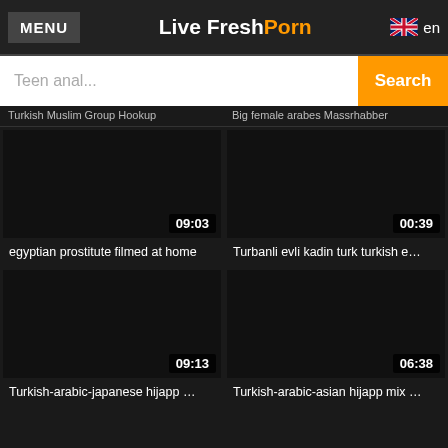MENU | Live FreshPorn | en
Teen anal... Search
Turkish Muslim Group Hookup | Big female arabes Massrhabber
[Figure (screenshot): Two dark video thumbnails with duration badges: 09:03 and 00:39]
egyptian prostitute filmed at home
Turbanli evli kadin turk turkish e...
[Figure (screenshot): Two dark video thumbnails with duration badges: 09:13 and 06:38]
Turkish-arabic-japanese hijapp ...
Turkish-arabic-asian hijapp mix ...